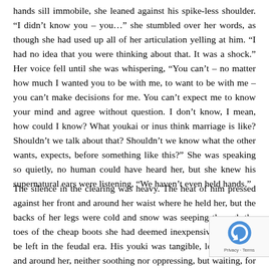hands sill immobile, she leaned against his spike-less shoulder. “I didn’t know you – you…” she stumbled over her words, as though she had used up all of her articulation yelling at him. “I had no idea that you were thinking about that. It was a shock.” Her voice fell until she was whispering, “You can’t – no matter how much I wanted you to be with me, to want to be with me – you can’t make decisions for me. You can’t expect me to know your mind and agree without question. I don’t know, I mean, how could I know? What youkai or inus think marriage is like? Shouldn’t we talk about that? Shouldn’t we know what the other wants, expects, before something like this?” She was speaking so quietly, no human could have heard her, but she knew his supernatural ears were listening, “We haven’t even held hands.”
The silence in the clearing was heavy. The heat of him pressed against her front and around her waist where he held her, but the backs of her legs were cold and snow was seeping through the toes of the cheap boots she had deemed inexpensive enough to be left in the feudal era. His youki was tangible, looming over and around her, neither soothing nor oppressing, but waiting, for what, she wasn’t sure. A chill breeze picked up, casting long, silver strands into the air